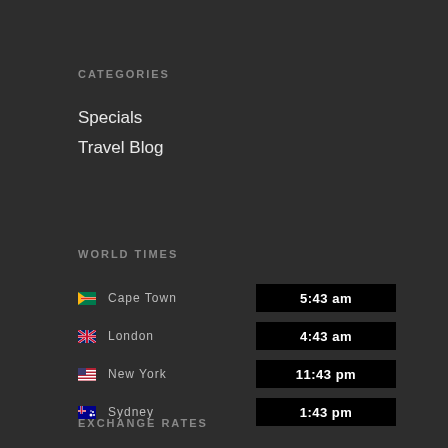CATEGORIES
Specials
Travel Blog
WORLD TIMES
| City | Time |
| --- | --- |
| Cape Town | 5:43 am |
| London | 4:43 am |
| New York | 11:43 pm |
| Sydney | 1:43 pm |
EXCHANGE RATES